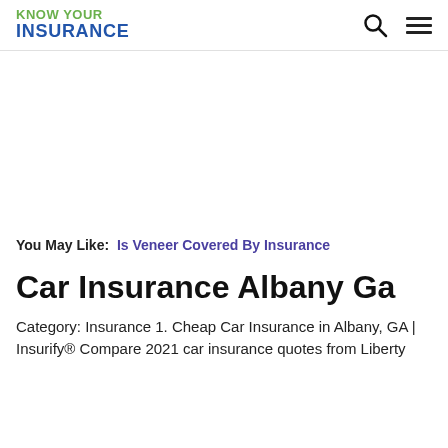KNOW YOUR INSURANCE
You May Like: Is Veneer Covered By Insurance
Car Insurance Albany Ga
Category: Insurance 1. Cheap Car Insurance in Albany, GA | Insurify® Compare 2021 car insurance quotes from Liberty